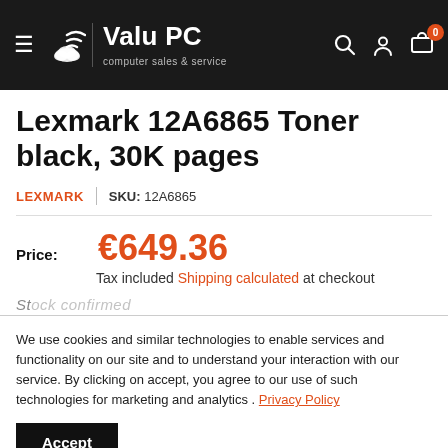Valu PC - computer sales & service
Lexmark 12A6865 Toner black, 30K pages
LEXMARK  |  SKU: 12A6865
Price: €649.36
Tax included Shipping calculated at checkout
We use cookies and similar technologies to enable services and functionality on our site and to understand your interaction with our service. By clicking on accept, you agree to our use of such technologies for marketing and analytics . Privacy Policy
Accept
Customs: No Hidden Charges Save yourself from any